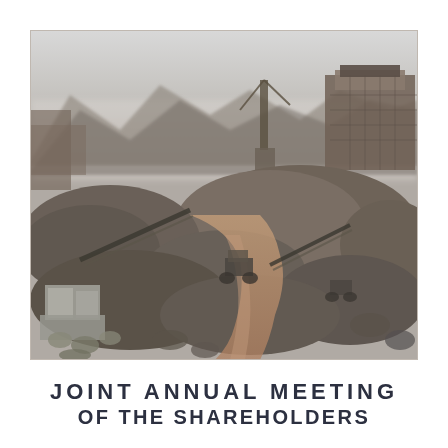[Figure (photo): Aerial or elevated view of a large open-pit mining or quarrying operation with mounds of grey/brown earth, construction equipment, conveyor belts, industrial structures, and a muddy access road. Mountains and haze visible in the background.]
JOINT ANNUAL MEETING
OF THE SHAREHOLDERS